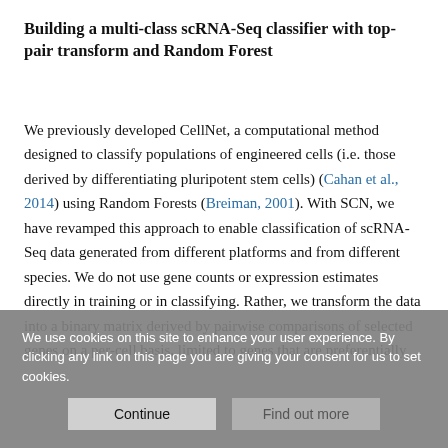Building a multi-class scRNA-Seq classifier with top-pair transform and Random Forest
We previously developed CellNet, a computational method designed to classify populations of engineered cells (i.e. those derived by differentiating pluripotent stem cells) (Cahan et al., 2014) using Random Forests (Breiman, 2001). With SCN, we have revamped this approach to enable classification of scRNA-Seq data generated from different platforms and from different species. We do not use gene counts or expression estimates directly in training or in classifying. Rather, we transform the data into a binary matrix derived by pairwise comparisons of selected genes on a per-cell basis, limited to genes that are preferentially
We use cookies on this site to enhance your user experience. By clicking any link on this page you are giving your consent for us to set cookies.